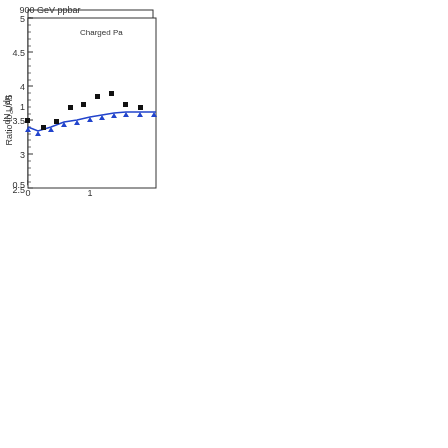[Figure (continuous-plot): Top partial chart: ratio to UA5 vs eta, showing data points (blue triangles) near ratio=1 with yellow band, range from 0.5 to above 1 on y-axis, x-axis from 0 to beyond 1]
[Figure (continuous-plot): Bottom partial chart: dNch/deta vs eta for 900 GeV ppbar collisions, showing blue triangles (model) and black squares (data) from eta 0 to beyond 2, y-axis from 2.5 to 5, title '900 GeV ppbar', label 'Charged Pa...']